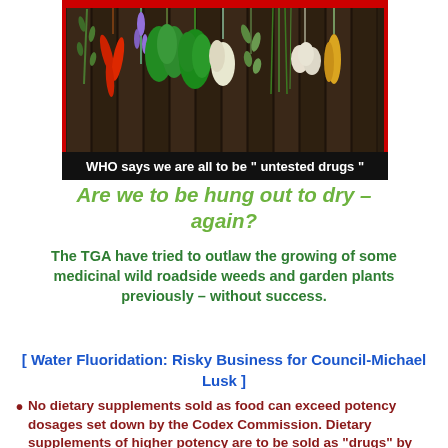[Figure (photo): Photo of various herbs and plants hanging upside down on a dark wooden fence, with a red border frame]
WHO says we are all to be “ untested drugs ”
Are we to be hung out to dry – again?
The TGA have tried to outlaw the growing of some medicinal wild roadside weeds and garden plants previously – without success.
[ Water Fluoridation: Risky Business for Council-Michael Lusk ]
No dietary supplements sold as food can exceed potency dosages set down by the Codex Commission. Dietary supplements of higher potency are to be sold as “drugs” by